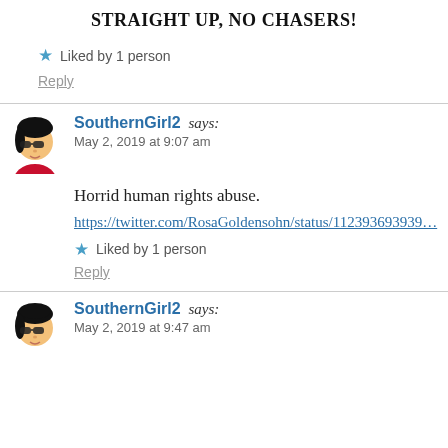STRAIGHT UP, NO CHASERS!
★ Liked by 1 person
Reply
SouthernGirl2 says:
May 2, 2019 at 9:07 am
Horrid human rights abuse.
https://twitter.com/RosaGoldensohn/status/1123936939…
★ Liked by 1 person
Reply
SouthernGirl2 says:
May 2, 2019 at 9:47 am